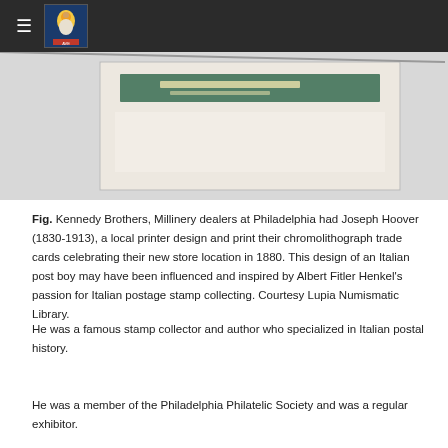≡ [logo icon]
[Figure (photo): Partial view of a chromolithograph trade card with a green banner, on a light beige/grey background.]
Fig. Kennedy Brothers, Millinery dealers at Philadelphia had Joseph Hoover (1830-1913), a local printer design and print their chromolithograph trade cards celebrating their new store location in 1880. This design of an Italian post boy may have been influenced and inspired by Albert Fitler Henkel's passion for Italian postage stamp collecting. Courtesy Lupia Numismatic Library.
He was a famous stamp collector and author who specialized in Italian postal history.
He was a member of the Philadelphia Philatelic Society and was a regular exhibitor.